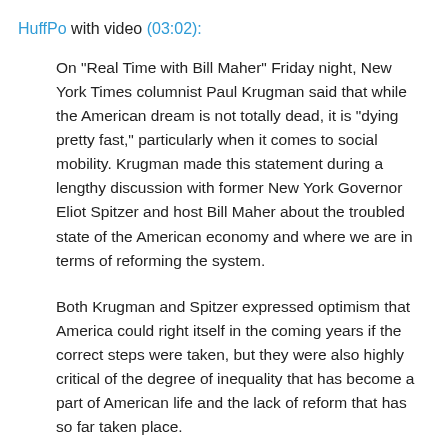HuffPo with video (03:02):
On "Real Time with Bill Maher" Friday night, New York Times columnist Paul Krugman said that while the American dream is not totally dead, it is "dying pretty fast," particularly when it comes to social mobility. Krugman made this statement during a lengthy discussion with former New York Governor Eliot Spitzer and host Bill Maher about the troubled state of the American economy and where we are in terms of reforming the system.
Both Krugman and Spitzer expressed optimism that America could right itself in the coming years if the correct steps were taken, but they were also highly critical of the degree of inequality that has become a part of American life and the lack of reform that has so far taken place.
"On bad mornings I wake up and think that we are turning into a Latin American country," Krugman said. "But on good mornings I think...